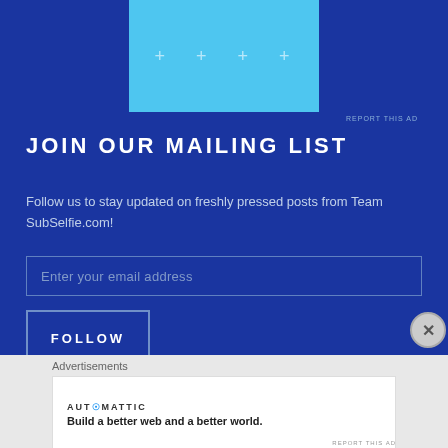[Figure (other): Light blue advertisement banner with decorative star/sparkle symbols]
REPORT THIS AD
JOIN OUR MAILING LIST
Follow us to stay updated on freshly pressed posts from Team SubSelfie.com!
Enter your email address
FOLLOW
Join 3,661 other followers
Advertisements
[Figure (other): Automattic advertisement: Build a better web and a better world.]